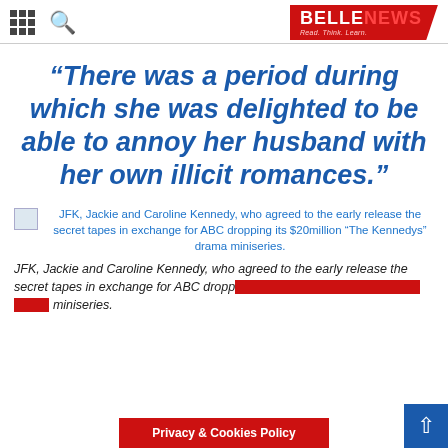BELLENEWS Read. Think. Learn.
“There was a period during which she was delighted to be able to annoy her husband with her own illicit romances.”
JFK, Jackie and Caroline Kennedy, who agreed to the early release the secret tapes in exchange for ABC dropping its $20million “The Kennedys” drama miniseries.
JFK, Jackie and Caroline Kennedy, who agreed to the early release the secret tapes in exchange for ABC dropping its $20million “The Kennedys” drama miniseries.
Privacy & Cookies Policy